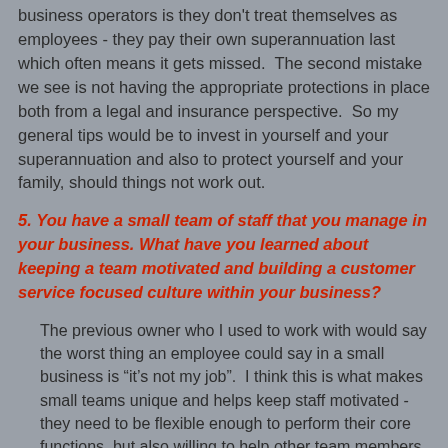business operators is they don't treat themselves as employees - they pay their own superannuation last which often means it gets missed.  The second mistake we see is not having the appropriate protections in place both from a legal and insurance perspective.  So my general tips would be to invest in yourself and your superannuation and also to protect yourself and your family, should things not work out.
5. You have a small team of staff that you manage in your business. What have you learned about keeping a team motivated and building a customer service focused culture within your business?
The previous owner who I used to work with would say the worst thing an employee could say in a small business is “it’s not my job”.  I think this is what makes small teams unique and helps keep staff motivated - they need to be flexible enough to perform their core functions, but also willing to help other team members find answers when needed.